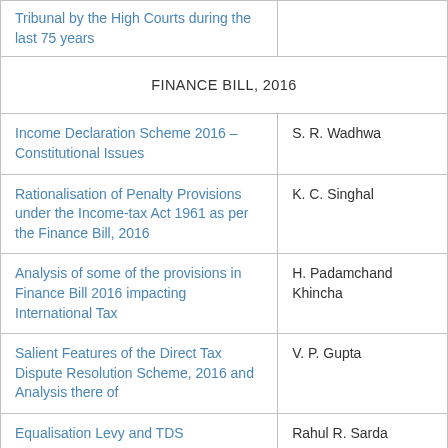| Topic | Author |
| --- | --- |
| Tribunal by the High Courts during the last 75 years |  |
| FINANCE BILL, 2016 |  |
| Income Declaration Scheme 2016 – Constitutional Issues | S. R. Wadhwa |
| Rationalisation of Penalty Provisions under the Income-tax Act 1961 as per the Finance Bill, 2016 | K. C. Singhal |
| Analysis of some of the provisions in Finance Bill 2016 impacting International Tax | H. Padamchand Khincha |
| Salient Features of the Direct Tax Dispute Resolution Scheme, 2016 and Analysis there of | V. P. Gupta |
| Equalisation Levy and TDS | Rahul R. Sarda |
| Presumptive Taxation | H. N. Motiwalla |